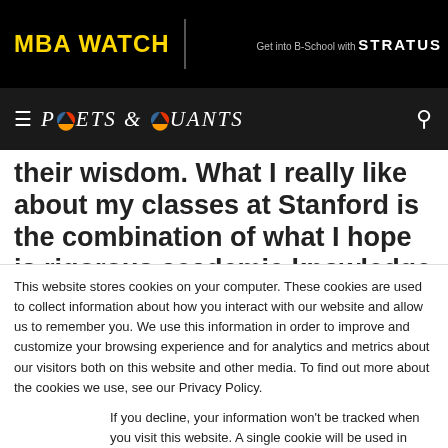MBA WATCH | Get into B-School with STRATUS
POETS & QUANTS
their wisdom. What I really like about my classes at Stanford is the combination of what I hope is rigorous academic knowledge with real practical
This website stores cookies on your computer. These cookies are used to collect information about how you interact with our website and allow us to remember you. We use this information in order to improve and customize your browsing experience and for analytics and metrics about our visitors both on this website and other media. To find out more about the cookies we use, see our Privacy Policy.
If you decline, your information won't be tracked when you visit this website. A single cookie will be used in your browser to remember your preference not to be tracked.